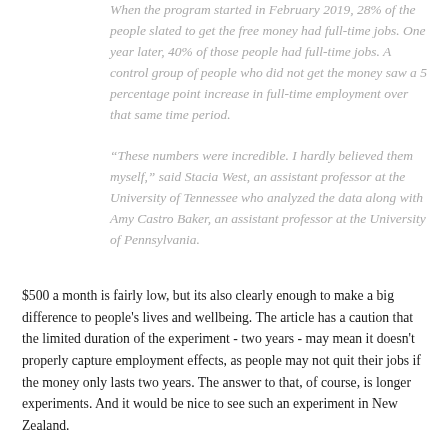When the program started in February 2019, 28% of the people slated to get the free money had full-time jobs. One year later, 40% of those people had full-time jobs. A control group of people who did not get the money saw a 5 percentage point increase in full-time employment over that same time period.

“These numbers were incredible. I hardly believed them myself,” said Stacia West, an assistant professor at the University of Tennessee who analyzed the data along with Amy Castro Baker, an assistant professor at the University of Pennsylvania.
$500 a month is fairly low, but its also clearly enough to make a big difference to people's lives and wellbeing. The article has a caution that the limited duration of the experiment - two years - may mean it doesn't properly capture employment effects, as people may not quit their jobs if the money only lasts two years. The answer to that, of course, is longer experiments. And it would be nice to see such an experiment in New Zealand.